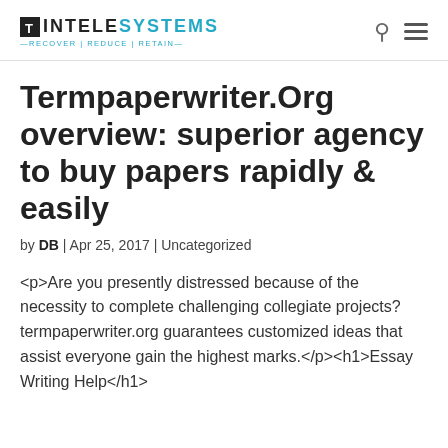INTELESYSTEMS — RECOVER | REDUCE | RETAIN
Termpaperwriter.Org overview: superior agency to buy papers rapidly & easily
by DB | Apr 25, 2017 | Uncategorized
<p>Are you presently distressed because of the necessity to complete challenging collegiate projects? termpaperwriter.org guarantees customized ideas that assist everyone gain the highest marks.</p><h1>Essay Writing Help</h1>